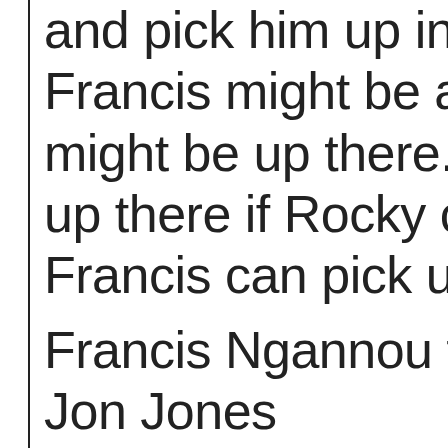and pick him up in th Francis might be ab might be up there. A up there if Rocky ca Francis can pick up
Francis Ngannou fa Jon Jones